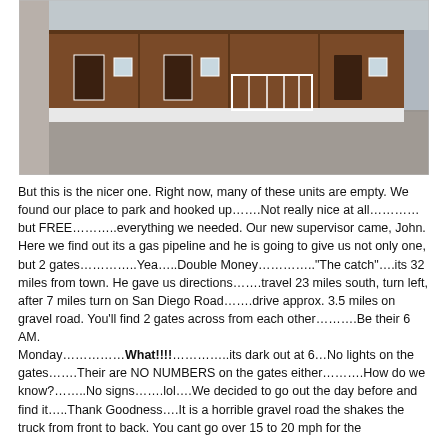[Figure (photo): Exterior view of a row of brown wooden cabin/trailer units with white trim and foundations, on a gravel lot. Buildings appear to be worker or RV housing units.]
But this is the nicer one.  Right now, many of these units are empty.  We found our place to park and hooked up…….Not really nice at all…………but FREE………..everything we needed.  Our new supervisor came, John.  Here we find out its a gas pipeline and he is going to give us not only one, but 2 gates…………..Yea…..Double Money…………."The catch"….its 32 miles from town.  He gave us directions…….travel 23 miles south, turn left, after 7 miles turn on San Diego Road…….drive approx. 3.5 miles on gravel road.   You'll find 2 gates across from each other……….Be their 6 AM.
Monday……………What!!!!………….its dark out at 6…No lights on the gates…….Their are NO NUMBERS on the gates either……….How do we know?……..No signs…….lol….We decided to go out the day before and find it…..Thank Goodness….It is a horrible gravel road the shakes the truck from front to back.   You cant go over 15 to 20 mph for the